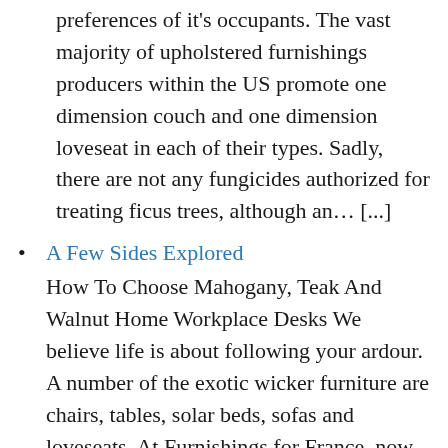preferences of it's occupants. The vast majority of upholstered furnishings producers within the US promote one dimension couch and one dimension loveseat in each of their types. Sadly, there are not any fungicides authorized for treating ficus trees, although an… [...]
A Few Sides Explored
How To Choose Mahogany, Teak And Walnut Home Workplace Desks We believe life is about following your ardour. A number of the exotic wicker furniture are chairs, tables, solar beds, sofas and loveseats. At Furnishings for France, now in our 14th year, we supply top quality UK made sofas, Oak and Pine furniture and provides… [...]